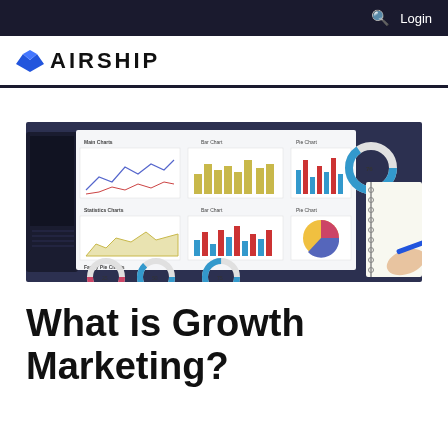🔍 Login
[Figure (logo): Airship logo with blue diamond/hat icon and bold uppercase AIRSHIP text]
[Figure (photo): Photo of a person writing in a notebook beside a laptop, with a printed dashboard report showing various charts including line charts, bar charts, pie charts, area charts, and donut charts on dark blue background]
What is Growth Marketing?